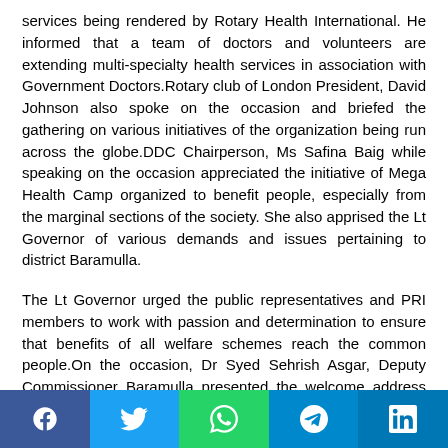services being rendered by Rotary Health International. He informed that a team of doctors and volunteers are extending multi-specialty health services in association with Government Doctors.Rotary club of London President, David Johnson also spoke on the occasion and briefed the gathering on various initiatives of the organization being run across the globe.DDC Chairperson, Ms Safina Baig while speaking on the occasion appreciated the initiative of Mega Health Camp organized to benefit people, especially from the marginal sections of the society. She also apprised the Lt Governor of various demands and issues pertaining to district Baramulla.
The Lt Governor urged the public representatives and PRI members to work with passion and determination to ensure that benefits of all welfare schemes reach the common people.On the occasion, Dr Syed Sehrish Asgar, Deputy Commissioner Baramulla presented the welcome address and briefed the chair about the working and achievements of the District Administration. She also apprised about the kind of services being provided to patients in the Mega Health Camp.Dr Parvez Masoodi gave a detailed presentation on surgeries and procedures being conducted during the
[Figure (infographic): Social media share bar with Facebook, Twitter, WhatsApp, Telegram, and LinkedIn icons]